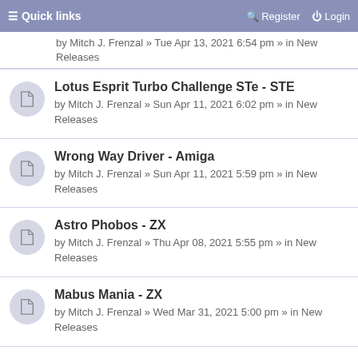Quick links  Register  Login
by Mitch J. Frenzal » Tue Apr 13, 2021 6:54 pm » in New Releases
Lotus Esprit Turbo Challenge STe - STE
by Mitch J. Frenzal » Sun Apr 11, 2021 6:02 pm » in New Releases
Wrong Way Driver - Amiga
by Mitch J. Frenzal » Sun Apr 11, 2021 5:59 pm » in New Releases
Astro Phobos - ZX
by Mitch J. Frenzal » Thu Apr 08, 2021 5:55 pm » in New Releases
Mabus Mania - ZX
by Mitch J. Frenzal » Wed Mar 31, 2021 5:00 pm » in New Releases
Space Invaders - ZX
by Mitch J. Frenzal » Mon Mar 29, 2021 9:02 pm » in New